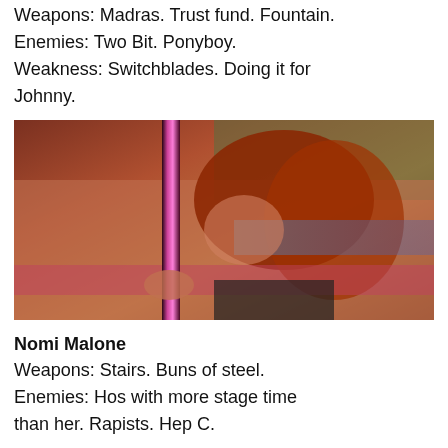Weapons: Madras. Trust fund. Fountain.
Enemies: Two Bit. Ponyboy.
Weakness: Switchblades. Doing it for Johnny.
[Figure (photo): Woman with curly red hair leaning against a shiny pole in a nightclub setting with colorful lights.]
Nomi Malone
Weapons: Stairs. Buns of steel.
Enemies: Hos with more stage time than her. Rapists. Hep C.